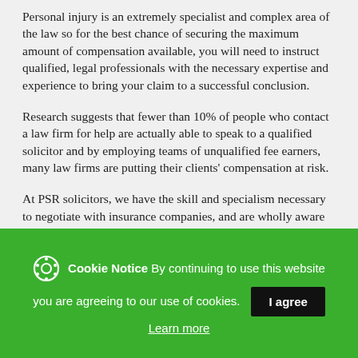Personal injury is an extremely specialist and complex area of the law so for the best chance of securing the maximum amount of compensation available, you will need to instruct qualified, legal professionals with the necessary expertise and experience to bring your claim to a successful conclusion.
Research suggests that fewer than 10% of people who contact a law firm for help are actually able to speak to a qualified solicitor and by employing teams of unqualified fee earners, many law firms are putting their clients' compensation at risk.
At PSR solicitors, we have the skill and specialism necessary to negotiate with insurance companies, and are wholly aware of the tactics some of them employ to
Cookie Notice By continuing to use this website you are agreeing to our use of cookies. I agree Learn more